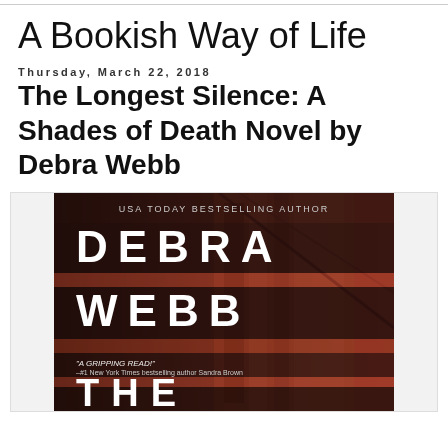A Bookish Way of Life
Thursday, March 22, 2018
The Longest Silence: A Shades of Death Novel by Debra Webb
[Figure (photo): Book cover of 'The Longest Silence' by Debra Webb showing the author name 'DEBRA WEBB' in large white letters on dark stripes over a background of reddish-brown staircase. Text reads 'USA TODAY BESTSELLING AUTHOR', 'A GRIPPING READ! - #1 New York Times bestselling author Sandra Brown', and 'THE' at the bottom.]